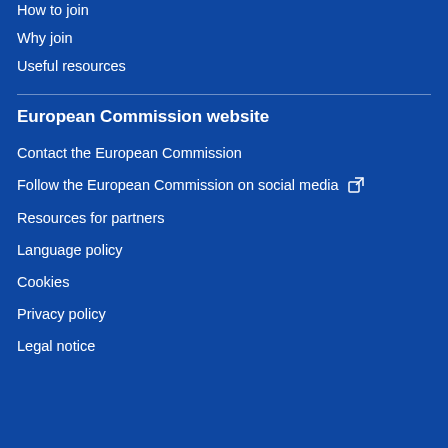How to join
Why join
Useful resources
European Commission website
Contact the European Commission
Follow the European Commission on social media
Resources for partners
Language policy
Cookies
Privacy policy
Legal notice